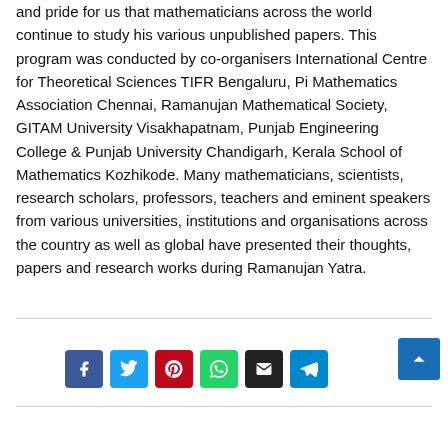and pride for us that mathematicians across the world continue to study his various unpublished papers. This program was conducted by co-organisers International Centre for Theoretical Sciences TIFR Bengaluru, Pi Mathematics Association Chennai, Ramanujan Mathematical Society, GITAM University Visakhapatnam, Punjab Engineering College & Punjab University Chandigarh, Kerala School of Mathematics Kozhikode. Many mathematicians, scientists, research scholars, professors, teachers and eminent speakers from various universities, institutions and organisations across the country as well as global have presented their thoughts, papers and research works during Ramanujan Yatra.
[Figure (infographic): Social media share buttons: Facebook (blue), Twitter (light blue), Pinterest (red), WhatsApp (green), Email (black), Telegram (blue). Also a back-to-top button (dark blue with up arrow).]